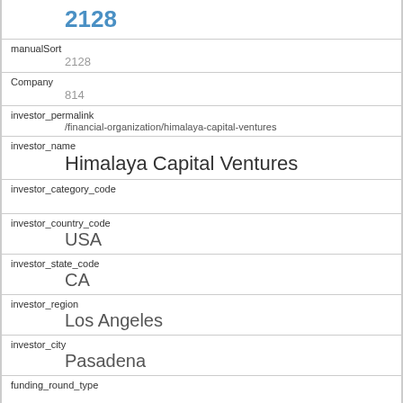2128
manualSort
2128
Company
814
investor_permalink
/financial-organization/himalaya-capital-ventures
investor_name
Himalaya Capital Ventures
investor_category_code
investor_country_code
USA
investor_state_code
CA
investor_region
Los Angeles
investor_city
Pasadena
funding_round_type